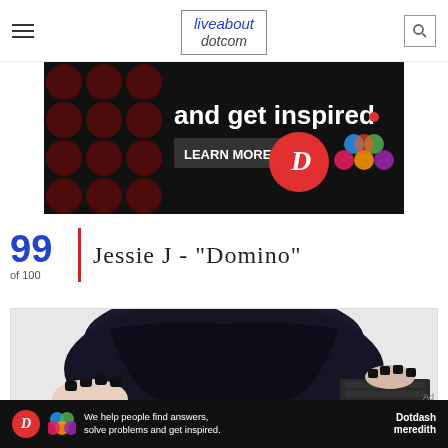liveabout dotcom
[Figure (photo): Advertisement banner with black background showing 'and get inspired.' text, LEARN MORE button, Domino's D logo in red circle, and colorful interlocking circles logo]
99 of 100 | Jessie J - "Domino"
[Figure (photo): Close-up photo of a person with dark black hair, dark nail polish on hands visible at sides, on white background]
[Figure (photo): Bottom advertisement bar: 'We help people find answers, solve problems and get inspired.' with Dotdash Meredith logo]